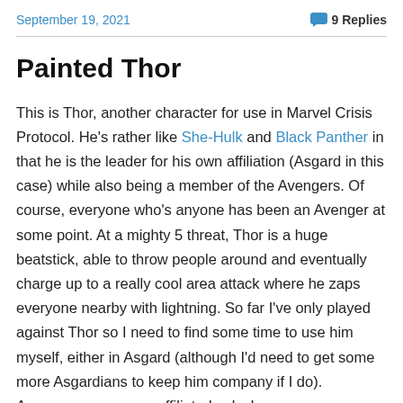September 19, 2021    9 Replies
Painted Thor
This is Thor, another character for use in Marvel Crisis Protocol. He's rather like She-Hulk and Black Panther in that he is the leader for his own affiliation (Asgard in this case) while also being a member of the Avengers. Of course, everyone who's anyone has been an Avenger at some point. At a mighty 5 threat, Thor is a huge beatstick, able to throw people around and eventually charge up to a really cool area attack where he zaps everyone nearby with lightning. So far I've only played against Thor so I need to find some time to use him myself, either in Asgard (although I'd need to get some more Asgardians to keep him company if I do). Avengers or as an unaffiliated splash